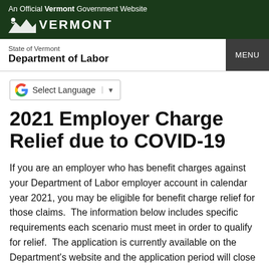An Official Vermont Government Website
[Figure (logo): Vermont state logo with mountain silhouette and VERMONT wordmark in white on dark green background]
State of Vermont Department of Labor
Select Language
2021 Employer Charge Relief due to COVID-19
If you are an employer who has benefit charges against your Department of Labor employer account in calendar year 2021, you may be eligible for benefit charge relief for those claims.  The information below includes specific requirements each scenario must meet in order to qualify for relief.  The application is currently available on the Department's website and the application period will close